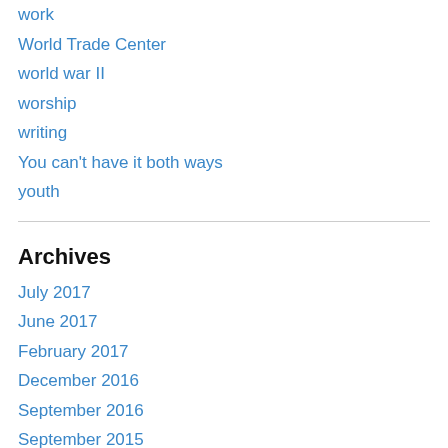work
World Trade Center
world war II
worship
writing
You can't have it both ways
youth
Archives
July 2017
June 2017
February 2017
December 2016
September 2016
September 2015
August 2015
November 2014
August 2013
July 2013